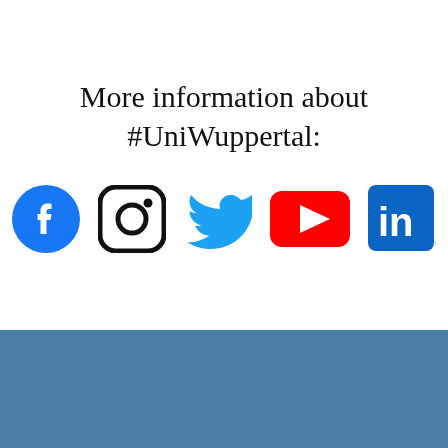More information about #UniWuppertal:
[Figure (logo): Five social media icons: Facebook (blue circle with white f), Instagram (black outlined rounded square with camera), Twitter (blue bird), YouTube (red rounded rectangle with white play button), LinkedIn (blue square with white 'in')]
University of Wuppertal